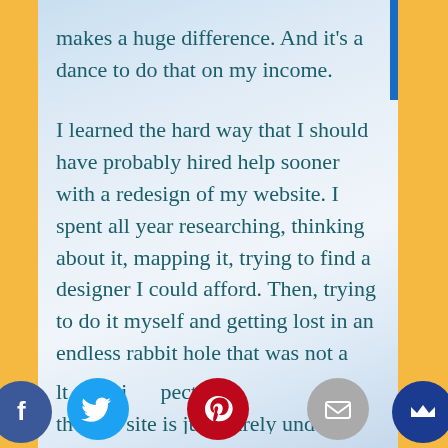makes a huge difference. And it's a dance to do that on my income.
I learned the hard way that I should have probably hired help sooner with a redesign of my website. I spent all year researching, thinking about it, mapping it, trying to find a designer I could afford. Then, trying to do it myself and getting lost in an endless rabbit hole that was not a good use of my time. In the end I had to hire someone anyway to help me with the difficult technical aspects. A... the new site is just barely und...